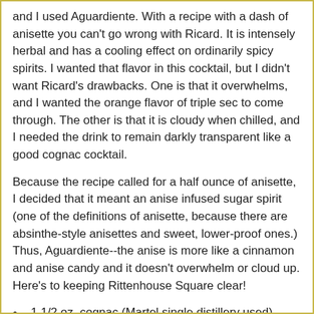and I used Aguardiente. With a recipe with a dash of anisette you can't go wrong with Ricard. It is intensely herbal and has a cooling effect on ordinarily spicy spirits. I wanted that flavor in this cocktail, but I didn't want Ricard's drawbacks. One is that it overwhelms, and I wanted the orange flavor of triple sec to come through. The other is that it is cloudy when chilled, and I needed the drink to remain darkly transparent like a good cognac cocktail.
Because the recipe called for a half ounce of anisette, I decided that it meant an anise infused sugar spirit (one of the definitions of anisette, because there are absinthe-style anisettes and sweet, lower-proof ones.) Thus, Aguardiente--the anise is more like a cinnamon and anise candy and it doesn't overwhelm or cloud up. Here's to keeping Rittenhouse Square clear!
1 1/2 oz. cognac (Martel single distillery used)
1 oz. curacao (triple sec used--and that's fine with Aguardiente, a rum-based spirit)
1/2 oz. anisette (Aguardiente used with a dash of